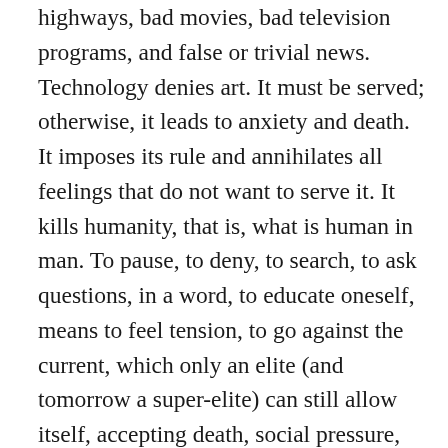highways, bad movies, bad television programs, and false or trivial news. Technology denies art. It must be served; otherwise, it leads to anxiety and death. It imposes its rule and annihilates all feelings that do not want to serve it. It kills humanity, that is, what is human in man. To pause, to deny, to search, to ask questions, in a word, to educate oneself, means to feel tension, to go against the current, which only an elite (and tomorrow a super-elite) can still allow itself, accepting death, social pressure, by devoting itself to this problem. This is why the young people are silent. They march with their eyes glued to the path blazed by the machine. They advance to the sound of an anthem composed of bad music, visualized by a retrograde television industry, urged on by a nameless film industry and by an anarchical sexuality. This is neither music, nor art, nor love, but a sterile concoction that